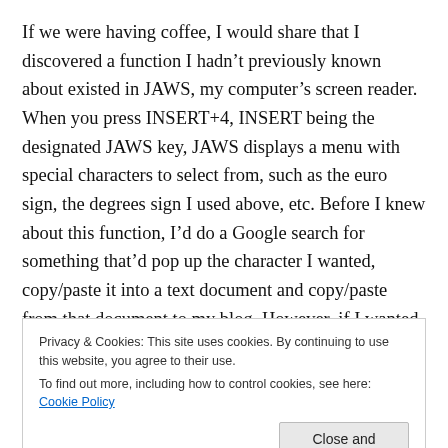If we were having coffee, I would share that I discovered a function I hadn't previously known about existed in JAWS, my computer's screen reader. When you press INSERT+4, INSERT being the designated JAWS key, JAWS displays a menu with special characters to select from, such as the euro sign, the degrees sign I used above, etc. Before I knew about this function, I'd do a Google search for something that'd pop up the character I wanted, copy/paste it into a text document and copy/paste from that document to my blog. However, if I wanted a character that wasn't yet in the document, I'd need to do a search all over again. Besides, it'd mean having to open a separate app, in this case Notepad, and copy/pasting from
Privacy & Cookies: This site uses cookies. By continuing to use this website, you agree to their use.
To find out more, including how to control cookies, see here: Cookie Policy
Close and accept
effects as of yet, as aripiprazole has a half life of 72 hours